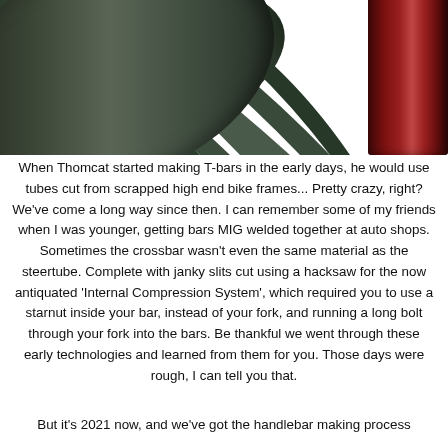[Figure (photo): Close-up photo of two bicycle tube/frame sections side by side — a matte dark green/black tube on the left and a glossy dark red/maroon tube on the right, against a white background.]
When Thomcat started making T-bars in the early days, he would use tubes cut from scrapped high end bike frames... Pretty crazy, right? We've come a long way since then. I can remember some of my friends when I was younger, getting bars MIG welded together at auto shops. Sometimes the crossbar wasn't even the same material as the steertube. Complete with janky slits cut using a hacksaw for the now antiquated 'Internal Compression System', which required you to use a starnut inside your bar, instead of your fork, and running a long bolt through your fork into the bars. Be thankful we went through these early technologies and learned from them for you. Those days were rough, I can tell you that.
But it's 2021 now, and we've got the handlebar making process